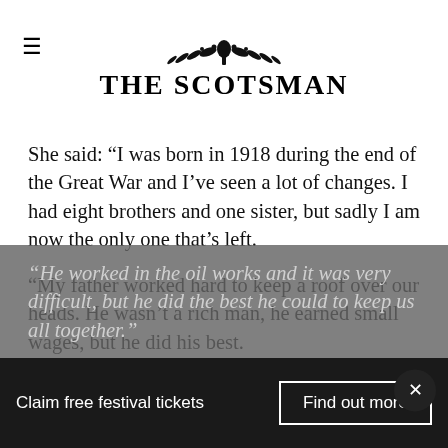THE SCOTSMAN
She said: “I was born in 1918 during the end of the Great War and I’ve seen a lot of changes. I had eight brothers and one sister, but sadly I am now the only one that’s left.
“My father worked hard to keep a roof over our heads. He wasn’t a rich man, he earned small wages, but he did his best.
“He worked in the oil works and it was very difficult, but he did the best he could to keep us all together."
Claim free festival tickets Find out more